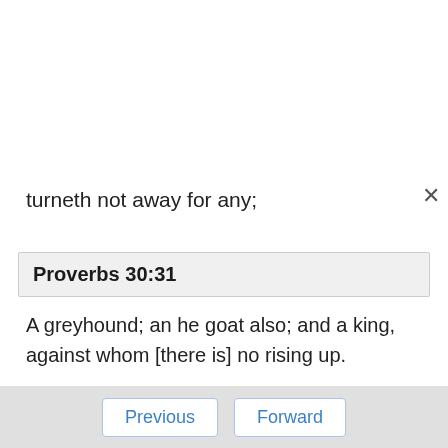turneth not away for any;
Proverbs 30:31
A greyhound; an he goat also; and a king, against whom [there is] no rising up.
Proverbs 30:32
If thou hast done foolishly in lifting up thyself, or if thou hast thought evil, [lay] thine hand upon thy mouth.
Previous   Forward